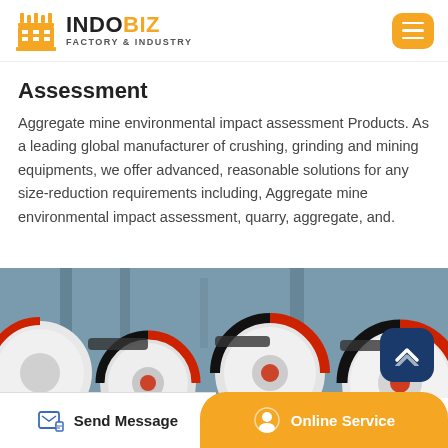INDOBIZ FACTORY & INDUSTRY
Assessment
Aggregate mine environmental impact assessment Products. As a leading global manufacturer of crushing, grinding and mining equipments, we offer advanced, reasonable solutions for any size-reduction requirements including, Aggregate mine environmental impact assessment, quarry, aggregate, and.
[Figure (photo): Industrial mining machinery with large black and red wheels/rollers in a factory setting]
Send Message | Online Service